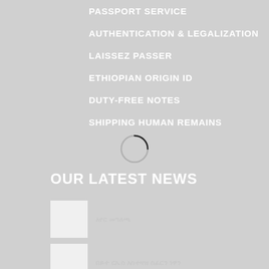PASSPORT SERVICE
AUTHENTICATION & LEGALIZATION
LAISSEZ PASSER
ETHIOPIAN ORIGIN ID
DUTY-FREE NOTES
SHIPPING HUMAN REMAINS
OUR LATEST NEWS
[Figure (photo): News thumbnail image placeholder]
[blurred Amharic text]
[Figure (photo): News thumbnail image placeholder]
[blurred news headline text]
[Figure (photo): News thumbnail partial]
Statement regarding the latest report by Amnesty...